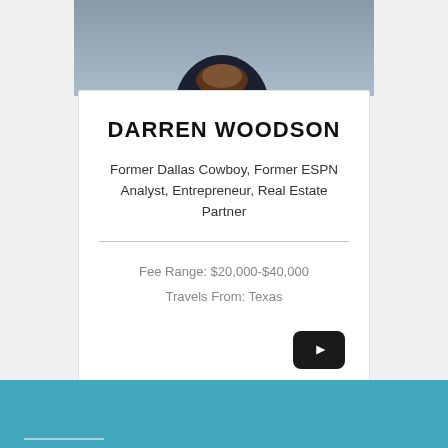[Figure (photo): Partial photo of Darren Woodson holding a football, cropped at top of card]
DARREN WOODSON
Former Dallas Cowboy, Former ESPN Analyst, Entrepreneur, Real Estate Partner
Fee Range: $20,000-$40,000
Travels From: Texas
[Figure (other): YouTube play button icon (dark rounded rectangle with white triangle)]